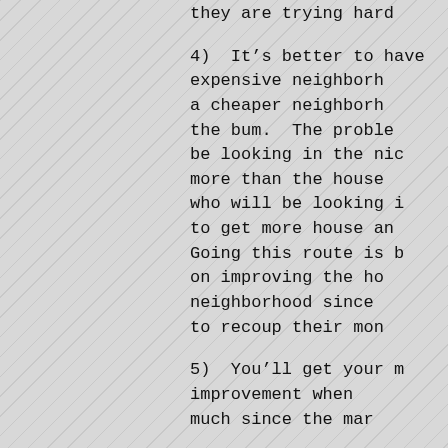they are trying hard
4)  It's better to have expensive neighborhood a cheaper neighborhood the bum.  The problem be looking in the nice more than the house who will be looking i to get more house an Going this route is b on improving the ho neighborhood since to recoup their mon
5)  You'll get your m improvement when much since the mar